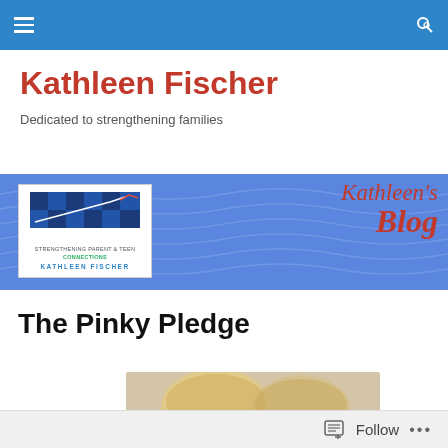Navigation bar with hamburger menu and search icon
Kathleen Fischer
Dedicated to strengthening families
[Figure (illustration): Blog banner with blue background, a logo box showing a stock chart with STRENGTHENING PARENT & TEEN CONNECTIONS / KATHLEEN FISCHER text, and cursive red 'Kathleen's Blog' text on the right]
The Pinky Pledge
[Figure (photo): Partial photo showing tops of two people's heads with blonde/light hair]
Follow  •••